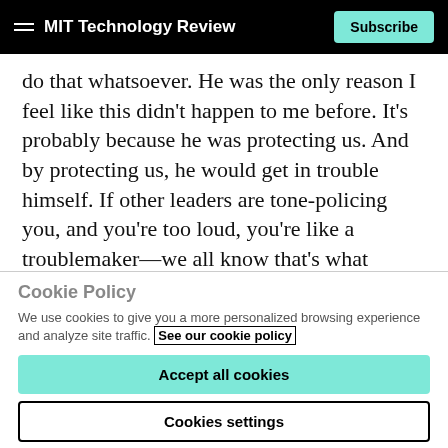MIT Technology Review | Subscribe
do that whatsoever. He was the only reason I feel like this didn't happen to me before. It's probably because he was protecting us. And by protecting us, he would get in trouble himself. If other leaders are tone-policing you, and you're too loud, you're like a troublemaker—we all know that's what happens to people like me—then if someone defends you, they're obviously going to also be a problem for the other leaders.
Cookie Policy
We use cookies to give you a more personalized browsing experience and analyze site traffic. See our cookie policy
Accept all cookies
Cookies settings